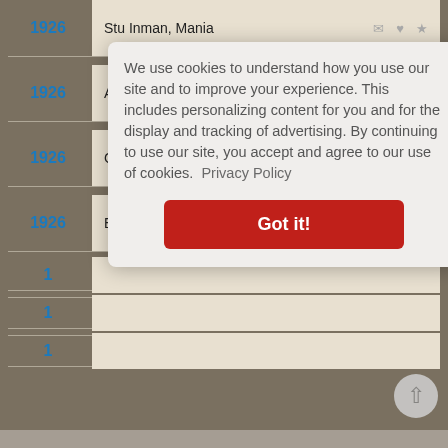1926 — Stu Inman, Mania
1926 — Annie Geeraerts, Episode #1.4006
1926 — Charles Einstein, While the City Sleeps
1926 — Earle Foster, The Wrong Claim
We use cookies to understand how you use our site and to improve your experience. This includes personalizing content for you and for the display and tracking of advertising. By continuing to use our site, you accept and agree to our use of cookies. Privacy Policy
Got it!